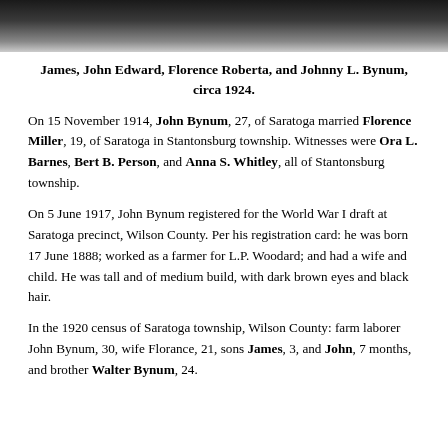[Figure (photo): Partial top of a photograph, dark toned image, cropped at top of page]
James, John Edward, Florence Roberta, and Johnny L. Bynum, circa 1924.
On 15 November 1914, John Bynum, 27, of Saratoga married Florence Miller, 19, of Saratoga in Stantonsburg township. Witnesses were Ora L. Barnes, Bert B. Person, and Anna S. Whitley, all of Stantonsburg township.
On 5 June 1917, John Bynum registered for the World War I draft at Saratoga precinct, Wilson County. Per his registration card: he was born 17 June 1888; worked as a farmer for L.P. Woodard; and had a wife and child. He was tall and of medium build, with dark brown eyes and black hair.
In the 1920 census of Saratoga township, Wilson County: farm laborer John Bynum, 30, wife Florance, 21, sons James, 3, and John, 7 months, and brother Walter Bynum, 24.